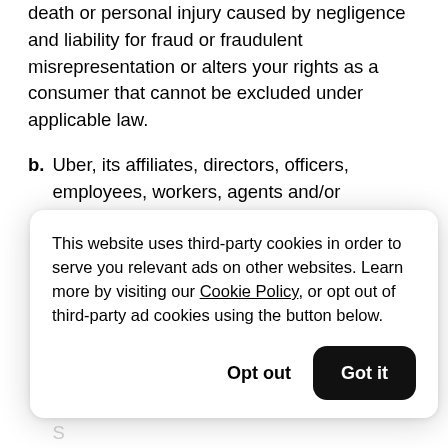death or personal injury caused by negligence and liability for fraud or fraudulent misrepresentation or alters your rights as a consumer that cannot be excluded under applicable law.
b. Uber, its affiliates, directors, officers, employees, workers, agents and/or subcontractors are not liable under or in relation to these Terms including, but not limited to... (partially obscured by cookie banner)
This website uses third-party cookies in order to serve you relevant ads on other websites. Learn more by visiting our Cookie Policy, or opt out of third-party ad cookies using the button below.
or business; (iii) loss of agreements or